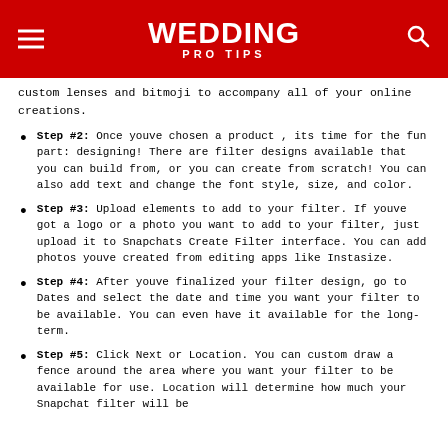WEDDING PRO TIPS
custom lenses and bitmoji to accompany all of your online creations.
Step #2: Once youve chosen a product , its time for the fun part: designing! There are filter designs available that you can build from, or you can create from scratch! You can also add text and change the font style, size, and color.
Step #3: Upload elements to add to your filter. If youve got a logo or a photo you want to add to your filter, just upload it to Snapchats Create Filter interface. You can add photos youve created from editing apps like Instasize.
Step #4: After youve finalized your filter design, go to Dates and select the date and time you want your filter to be available. You can even have it available for the long-term.
Step #5: Click Next or Location. You can custom draw a fence around the area where you want your filter to be available for use. Location will determine how much your Snapchat filter will be